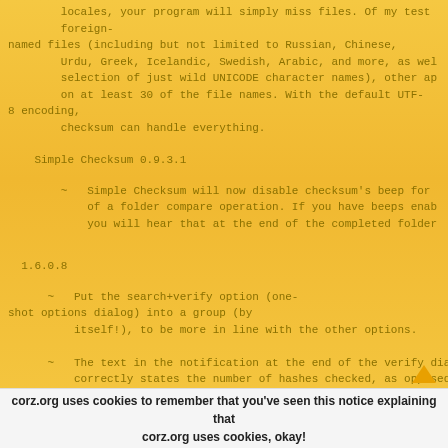locales, your program will simply miss files. Of my test foreign-
named files (including but not limited to Russian, Chinese,
Urdu, Greek, Icelandic, Swedish, Arabic, and more, as well
selection of just wild UNICODE character names), other ap-
on at least 30 of the file names. With the default UTF-8 encoding,
checksum can handle everything.
Simple Checksum 0.9.3.1
~   Simple Checksum will now disable checksum's beep for
        of a folder compare operation. If you have beeps enab-
        you will hear that at the end of the completed folder
1.6.0.8
~   Put the search+verify option (one-shot options dialog) into a group (by
        itself!), to be more in line with the other options.
~   The text in the notification at the end of the verify dia-
        correctly states the number of hashes checked, as opposed
        of files - there may be multiple hashes for the same file
corz.org uses cookies to remember that you've seen this notice explaining that
corz.org uses cookies, okay!